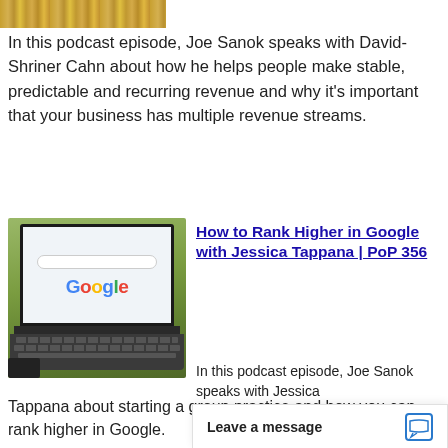[Figure (photo): Partial image of stacked gold coins at the top of the page]
In this podcast episode, Joe Sanok speaks with David-Shriner Cahn about how he helps people make stable, predictable and recurring revenue and why it's important that your business has multiple revenue streams.
[Figure (photo): Laptop computer showing Google search page on screen, placed on a wooden desk]
How to Rank Higher in Google with Jessica Tappana | PoP 356
In this podcast episode, Joe Sanok speaks with Jessica Tappana about starting a group practice and how you can rank higher in Google.
Leave a message